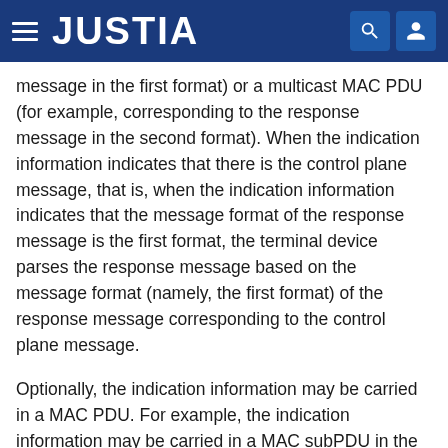JUSTIA
message in the first format) or a multicast MAC PDU (for example, corresponding to the response message in the second format). When the indication information indicates that there is the control plane message, that is, when the indication information indicates that the message format of the response message is the first format, the terminal device parses the response message based on the message format (namely, the first format) of the response message corresponding to the control plane message.
Optionally, the indication information may be carried in a MAC PDU. For example, the indication information may be carried in a MAC subPDU in the MAC PDU or in a MAC subheader.
Optionally, the indication information may be carried in